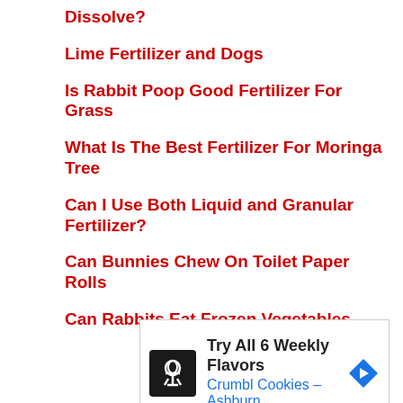Dissolve?
Lime Fertilizer and Dogs
Is Rabbit Poop Good Fertilizer For Grass
What Is The Best Fertilizer For Moringa Tree
Can I Use Both Liquid and Granular Fertilizer?
Can Bunnies Chew On Toilet Paper Rolls
Can Rabbits Eat Frozen Vegetables
[Figure (other): Advertisement banner for Crumbl Cookies - Ashburn showing logo, text 'Try All 6 Weekly Flavors', 'Crumbl Cookies - Ashburn', navigation arrow icon, and ad controls]